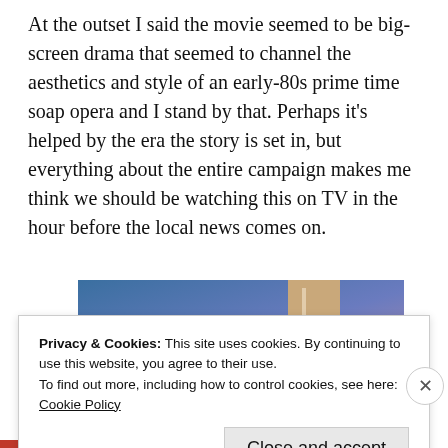At the outset I said the movie seemed to be big-screen drama that seemed to channel the aesthetics and style of an early-80s prime time soap opera and I stand by that. Perhaps it's helped by the era the story is set in, but everything about the entire campaign makes me think we should be watching this on TV in the hour before the local news comes on.
[Figure (photo): Partial image showing a blue-to-purple gradient background with a tan/brown rectangular object (possibly a book or box) visible in the upper right portion of the image.]
Privacy & Cookies: This site uses cookies. By continuing to use this website, you agree to their use.
To find out more, including how to control cookies, see here:
Cookie Policy
Close and accept